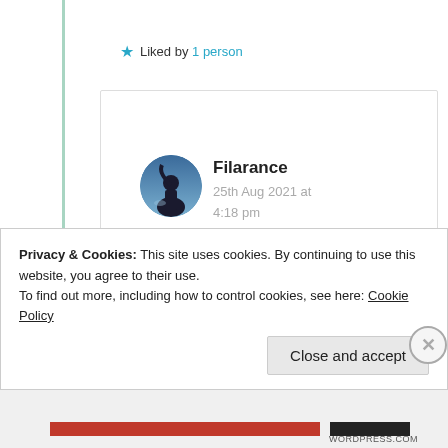★ Liked by 1 person
Filarance
25th Aug 2021 at 4:18 pm
[Figure (illustration): Two emoji: red heart and grinning face with smiling eyes]
★ Like
Privacy & Cookies: This site uses cookies. By continuing to use this website, you agree to their use.
To find out more, including how to control cookies, see here: Cookie Policy
Close and accept